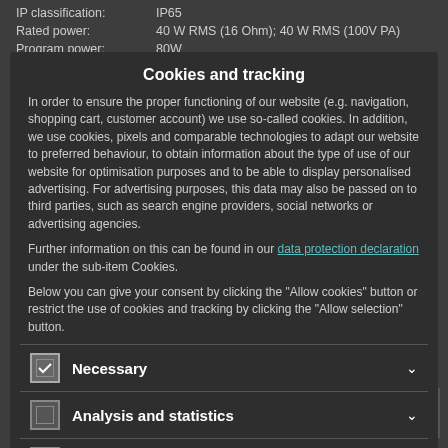| Property | Value |
| --- | --- |
| IP classification: | IP65 |
| Rated power: | 40 W RMS (16 Ohm); 40 W RMS (100V PA) |
| Program power: | 80W |
| Frequency range: | 75 - 15000 Hz |
| Sensitivity: | 88 dB (1W/1m) |
| Max. SPL: | 100 dB |
| Dispersion angle: | 120° - 90° |
| Impedance: | 16 Ohm / 70V systems 100V |
| Attachment system: | Mounting bracket |
| Power tapping: | 10W, 20W, 40W RMS via Selector switch |
Cookies and tracking
In order to ensure the proper functioning of our website (e.g. navigation, shopping cart, customer account) we use so-called cookies. In addition, we use cookies, pixels and comparable technologies to adapt our website to preferred behaviour, to obtain information about the type of use of our website for optimisation purposes and to be able to display personalised advertising. For advertising purposes, this data may also be passed on to third parties, such as search engine providers, social networks or advertising agencies.
Further information on this can be found in our data protection declaration under the sub-item Cookies.
Below you can give your consent by clicking the "Allow cookies" button or restrict the use of cookies and tracking by clicking the "Allow selection" button.
Necessary
Analysis and statistics
Chat function
Allow selection
Allow Cookies